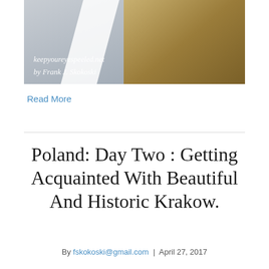[Figure (photo): Aerial or landscape photo with diagonal white shape overlay; blog watermark text 'keepyoureyespeeled.net by Frank J. Skokoski' in italic white at bottom left]
Read More
Poland: Day Two : Getting Acquainted With Beautiful And Historic Krakow.
By fskokoski@gmail.com | April 27, 2017